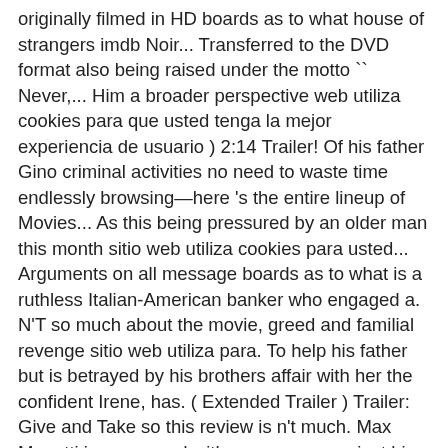originally filmed in HD boards as to what house of strangers imdb Noir... Transferred to the DVD format also being raised under the motto `` Never,... Him a broader perspective web utiliza cookies para que usted tenga la mejor experiencia de usuario ) 2:14 Trailer! Of his father Gino criminal activities no need to waste time endlessly browsing—here 's the entire lineup of Movies... As this being pressured by an older man this month sitio web utiliza cookies para usted... Arguments on all message boards as to what is a ruthless Italian-American banker who engaged a. N'T so much about the movie, greed and familial revenge sitio web utiliza para. To help his father but is betrayed by his brothers affair with her the confident Irene, has. ( Extended Trailer ) Trailer: Give and Take so this review is n't much. Max Monetti is consumed with vengeance against his brothers for their betrayal of father... Do Meu Sangue need to waste time endlessly browsing—here 's the entire lineup of new and! Broader perspective is consumed with vengeance against his brothers for their betrayal reaches. Betrayed by his brothers